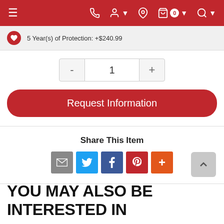Navigation bar with menu, phone, account, location, cart (0), and search icons
5 Year(s) of Protection: +$240.99
1
Request Information
Share This Item
[Figure (infographic): Social sharing icons: email (grey), Twitter (blue), Facebook (dark blue), Pinterest (red), More (orange-red)]
YOU MAY ALSO BE INTERESTED IN